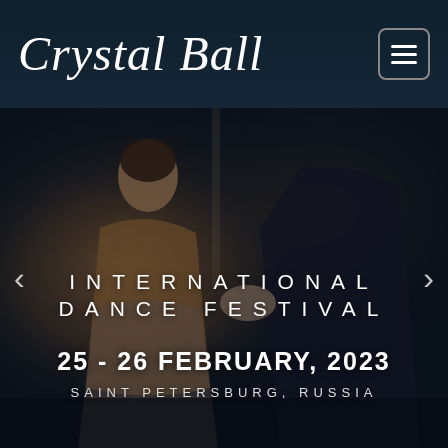Crystal Ball
[Figure (photo): Dance couple performing ballroom dance on a dark stage; woman in sparkly dress visible in foreground, man in dark suit partially visible]
INTERNATIONAL DANCE FESTIVAL
25 - 26 FEBRUARY, 2023
SAINT PETERSBURG, RUSSIA